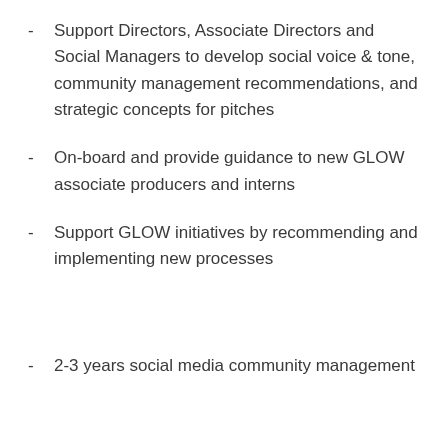Support Directors, Associate Directors and Social Managers to develop social voice & tone, community management recommendations, and strategic concepts for pitches
On-board and provide guidance to new GLOW associate producers and interns
Support GLOW initiatives by recommending and implementing new processes
2-3 years social media community management